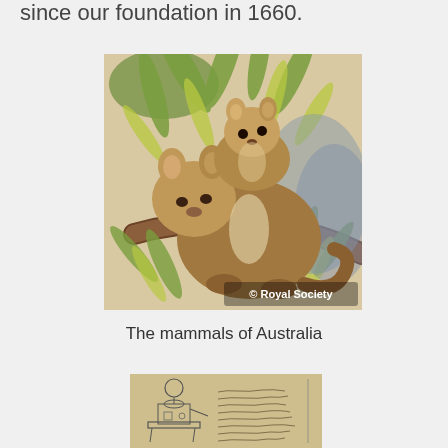since our foundation in 1660.
[Figure (illustration): Naturalist illustration of two Australian marsupials (possums or similar) clinging to a eucalyptus branch with green leaves, in warm brown tones. Watermark reads '© Royal Society' in the lower right corner.]
The mammals of Australia
[Figure (illustration): Historical manuscript page showing a mechanical device sketch (appears to be a pump or scientific apparatus) on the left and handwritten cursive notes in French or similar language on the right, on aged paper.]